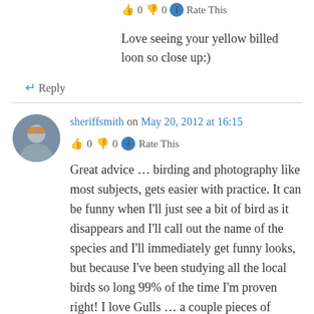👍 0 👎 0 ℹ Rate This
Love seeing your yellow billed loon so close up:)
↵ Reply
sheriffsmith on May 20, 2012 at 16:15
👍 0 👎 0 ℹ Rate This
Great advice … birding and photography like most subjects, gets easier with practice. It can be funny when I'll just see a bit of bird as it disappears and I'll call out the name of the species and I'll immediately get funny looks, but because I've been studying all the local birds so long 99% of the time I'm proven right! I love Gulls … a couple pieces of bread and you have friends and great photo subjects too!!! Great blog